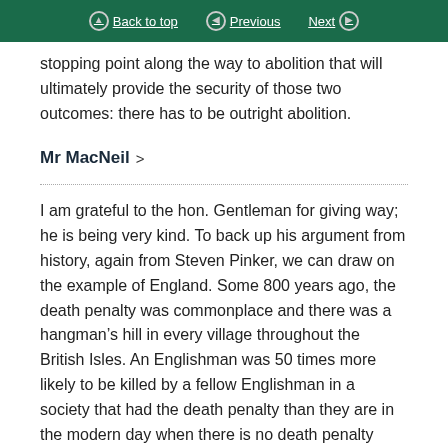Back to top  Previous  Next
stopping point along the way to abolition that will ultimately provide the security of those two outcomes: there has to be outright abolition.
Mr MacNeil >
I am grateful to the hon. Gentleman for giving way; he is being very kind. To back up his argument from history, again from Steven Pinker, we can draw on the example of England. Some 800 years ago, the death penalty was commonplace and there was a hangman’s hill in every village throughout the British Isles. An Englishman was 50 times more likely to be killed by a fellow Englishman in a society that had the death penalty than they are in the modern day when there is no death penalty